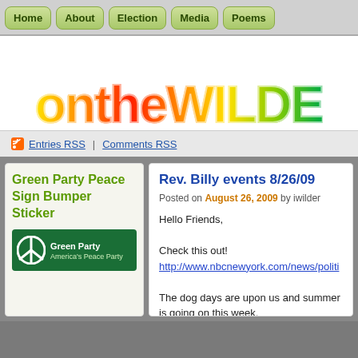Navigation: Home | About | Election | Media | Poems
[Figure (logo): ontheWILDE text logo with rainbow gradient lettering (yellow, orange, red, green) on white background]
Entries RSS | Comments RSS
Green Party Peace Sign Bumper Sticker
[Figure (logo): Green Party America's Peace Party banner with peace symbol on dark green background]
Rev. Billy events 8/26/09
Posted on August 26, 2009 by iwilder
Hello Friends,

Check this out!
http://www.nbcnewyork.com/news/politi

The dog days are upon us and summer is going on this week.